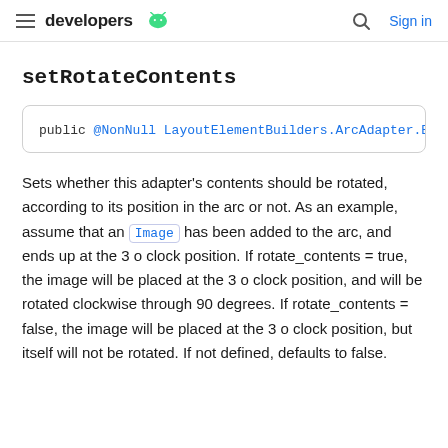developers
setRotateContents
public @NonNull LayoutElementBuilders.ArcAdapter.Bui
Sets whether this adapter's contents should be rotated, according to its position in the arc or not. As an example, assume that an Image has been added to the arc, and ends up at the 3 o clock position. If rotate_contents = true, the image will be placed at the 3 o clock position, and will be rotated clockwise through 90 degrees. If rotate_contents = false, the image will be placed at the 3 o clock position, but itself will not be rotated. If not defined, defaults to false.